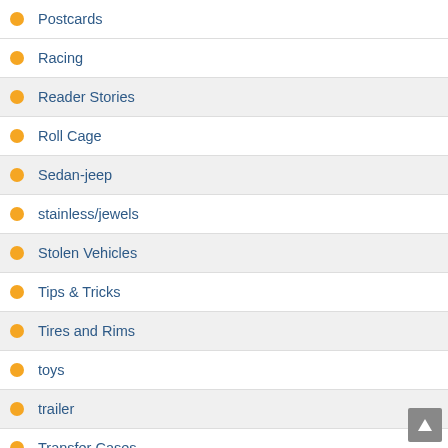Postcards
Racing
Reader Stories
Roll Cage
Sedan-jeep
stainless/jewels
Stolen Vehicles
Tips & Tricks
Tires and Rims
toys
trailer
Transfer Cases
Transmissions
Trips
Unique Jeeps